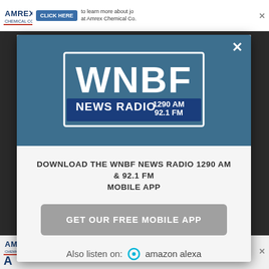[Figure (screenshot): Top Amrex Chemical Co. advertisement banner with CLICK HERE button and close X button]
[Figure (logo): WNBF News Radio 1290 AM 92.1 FM logo on blue modal header background]
DOWNLOAD THE WNBF NEWS RADIO 1290 AM & 92.1 FM MOBILE APP
GET OUR FREE MOBILE APP
Also listen on: amazon alexa
[Figure (screenshot): Bottom Amrex Chemical Co. advertisement banner with CLICK HERE button and close X button]